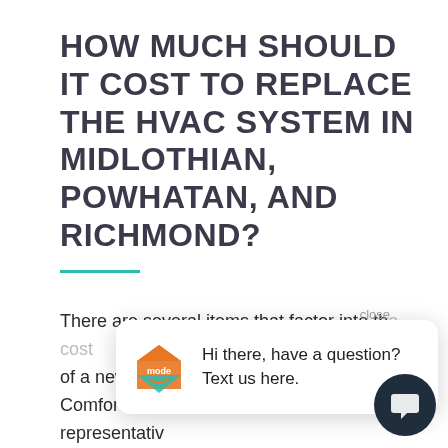HOW MUCH SHOULD IT COST TO REPLACE THE HVAC SYSTEM IN MIDLOTHIAN, POWHATAN, AND RICHMOND?
There are several items that factor into the cost of a new HV... Comfort & A... representative... of systems available including traditional HVAC units and ductless systems. Pricing differ... only with what kind of system that will be installed, but also with the size and cooling